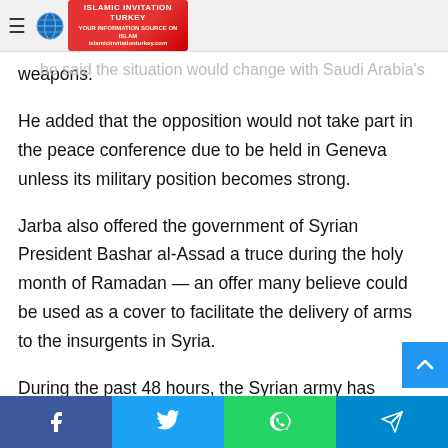Islamic Invitation Turkey (logo/header)
…Jarba do consider the opposition's military position as weak, but he said the situation would change with Saudi Arabia's weapons.
He added that the opposition would not take part in the peace conference due to be held in Geneva unless its military position becomes strong.
Jarba also offered the government of Syrian President Bashar al-Assad a truce during the holy month of Ramadan — an offer many believe could be used as a cover to facilitate the delivery of arms to the insurgents in Syria.
During the past 48 hours, the Syrian army has managed to gain more ground in Damascus and some other important regions.
Facebook | Twitter | WhatsApp | Telegram